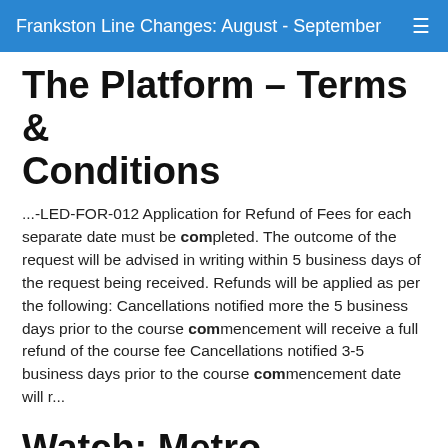Frankston Line Changes: August - September
The Platform – Terms & Conditions
...-LED-FOR-012 Application for Refund of Fees for each separate date must be completed. The outcome of the request will be advised in writing within 5 business days of the request being received. Refunds will be applied as per the following: Cancellations notified more the 5 business days prior to the course commencement will receive a full refund of the course fee Cancellations notified 3-5 business days prior to the course commencement date will r...
Watch: Metro employees celebrate more Melburnians getting jobs